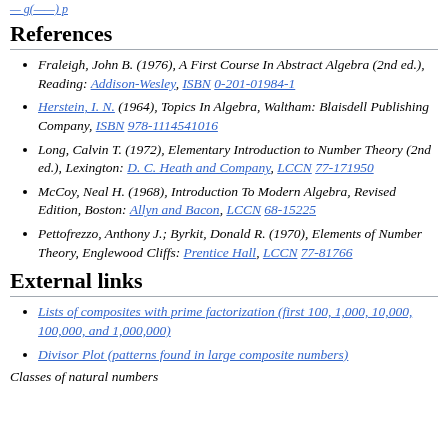— g(——) p
References
Fraleigh, John B. (1976), A First Course In Abstract Algebra (2nd ed.), Reading: Addison-Wesley, ISBN 0-201-01984-1
Herstein, I. N. (1964), Topics In Algebra, Waltham: Blaisdell Publishing Company, ISBN 978-1114541016
Long, Calvin T. (1972), Elementary Introduction to Number Theory (2nd ed.), Lexington: D. C. Heath and Company, LCCN 77-171950
McCoy, Neal H. (1968), Introduction To Modern Algebra, Revised Edition, Boston: Allyn and Bacon, LCCN 68-15225
Pettofrezzo, Anthony J.; Byrkit, Donald R. (1970), Elements of Number Theory, Englewood Cliffs: Prentice Hall, LCCN 77-81766
External links
Lists of composites with prime factorization (first 100, 1,000, 10,000, 100,000, and 1,000,000)
Divisor Plot (patterns found in large composite numbers)
Classes of natural numbers